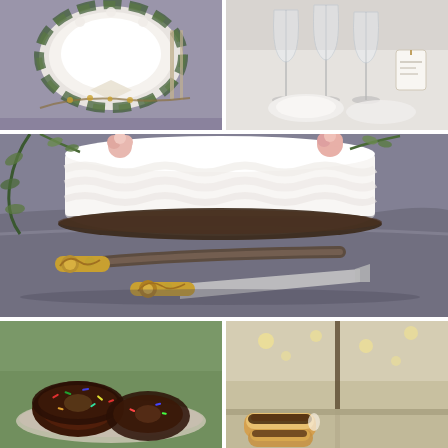[Figure (photo): Top-left photo: wedding place setting with plate, greenery wreath, and decorative elements on a lavender/gray tablecloth]
[Figure (photo): Top-right photo: wedding table setting with glasses, plates, and table card on white background]
[Figure (photo): Middle large photo: white layered wedding cake with pink roses and greenery, with ornate gold-handled cake knife and server set on a gray/lavender tablecloth]
[Figure (photo): Bottom-left photo: donuts with chocolate frosting and sprinkles on a plate, blurred green background]
[Figure (photo): Bottom-right photo: pastries/eclair on display at outdoor tent reception with string lights in background]